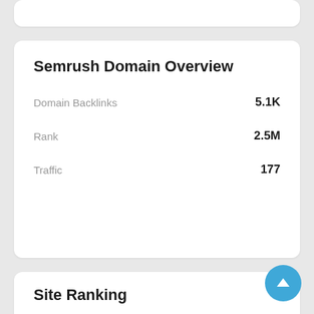Semrush Domain Overview
Domain Backlinks: 5.1K
Rank: 2.5M
Traffic: 177
Site Ranking
Current Global Ranking: 10,450,552